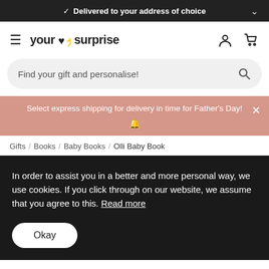✓ Delivered to your address of choice
[Figure (logo): YourSurprise logo with hamburger menu, account and cart icons]
Find your gift and personalise!
Select express shipping for delivery in time for Father's Day!
Gifts / Books / Baby Books / Olli Baby Book
In order to assist you in a better and more personal way, we use cookies. If you click through on our website, we assume that you agree to this. Read more
Okay